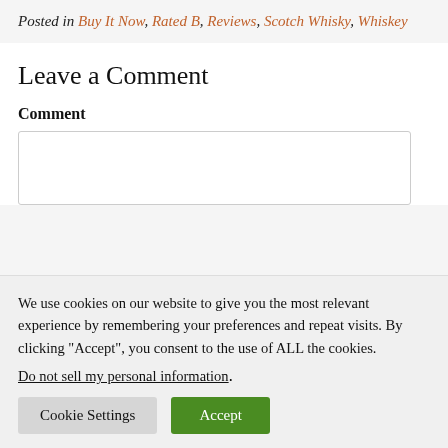Posted in Buy It Now, Rated B, Reviews, Scotch Whisky, Whiskey
Leave a Comment
Comment
[Figure (other): Comment text input box (empty textarea)]
We use cookies on our website to give you the most relevant experience by remembering your preferences and repeat visits. By clicking “Accept”, you consent to the use of ALL the cookies.
Do not sell my personal information.
Cookie Settings   Accept